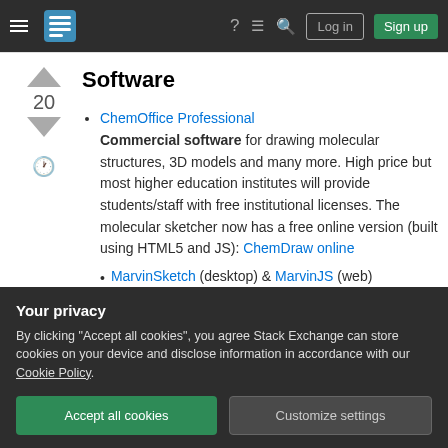Stack Exchange navigation bar with hamburger menu, logo, help, chat, search icons, Log in and Sign up buttons
Software
ChemOffice Professional — Commercial software for drawing molecular structures, 3D models and many more. High price but most higher education institutes will provide students/staff with free institutional licenses. The molecular sketcher now has a free online version (built using HTML5 and JS): ChemDraw online
MarvinSketch (desktop) & MarvinJS (web)
Your privacy — By clicking "Accept all cookies", you agree Stack Exchange can store cookies on your device and disclose information in accordance with our Cookie Policy. [Accept all cookies] [Customize settings]
atom and bond properties, generate stereoisomers,